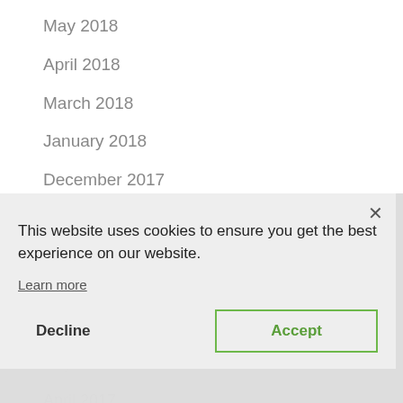May 2018
April 2018
March 2018
January 2018
December 2017
November 2017
October 2017
August 2017
June 2017
May 2017
April 2017
This website uses cookies to ensure you get the best experience on our website.
Learn more
Decline
Accept